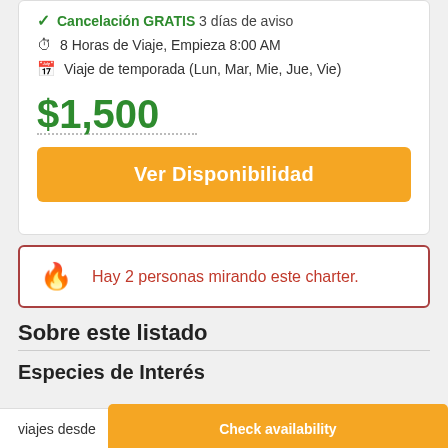✓ Cancelación GRATIS 3 días de aviso
⏱ 8 Horas de Viaje, Empieza 8:00 AM
📅 Viaje de temporada (Lun, Mar, Mie, Jue, Vie)
$1,500
Ver Disponibilidad
Hay 2 personas mirando este charter.
Sobre este listado
Especies de Interés
[Figure (illustration): Four fish species shown as illustrations: tuna/bonito, barracuda, another fish, and mahi-mahi (dorado)]
viajes desde
Check availability